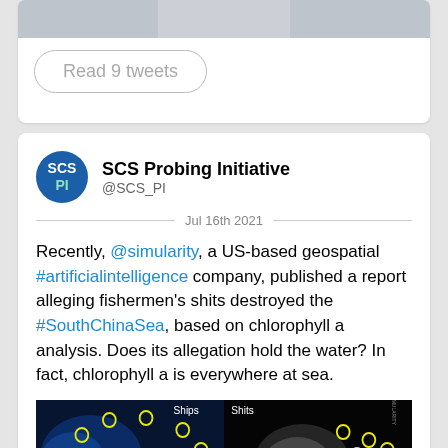[Figure (photo): Top portion of a photo showing a person in military uniform, partially cropped]
Read 9 tweets
SCS Probing Initiative @SCS_PI
Jul 16th 2021
Recently, @simularity, a US-based geospatial #artificialintelligence company, published a report alleging fishermen's shits destroyed the #SouthChinaSea, based on chlorophyll a analysis. Does its allegation hold the water? In fact, chlorophyll a is everywhere at sea.
[Figure (photo): Two satellite/map images side by side labeled 'Ships' (left, dark blue ocean with yellow circle markers and red annotation text) and 'Shits' (right, black background with white shape and yellow circle markers)]